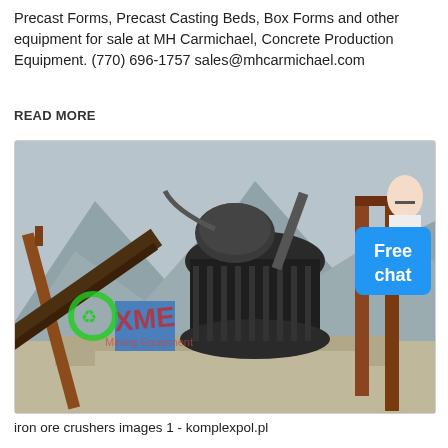Precast Forms, Precast Casting Beds, Box Forms and other equipment for sale at MH Carmichael, Concrete Production Equipment. (770) 696-1757 sales@mhcarmichael.com
READ MORE
[Figure (photo): Industrial cone crusher / mining equipment at an outdoor site with mountains in background and XME Mining Equipment watermark. A 'Free chat' button with a customer service avatar is overlaid in the top-right corner.]
iron ore crushers images 1 - komplexpol.pl